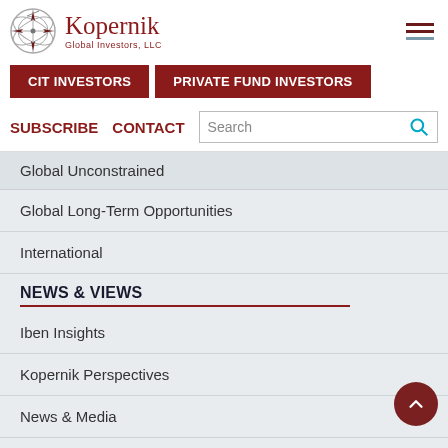[Figure (logo): Kopernik Global Investors, LLC logo with compass/globe icon]
CIT INVESTORS
PRIVATE FUND INVESTORS
SUBSCRIBE
CONTACT
Global Unconstrained
Global Long-Term Opportunities
International
NEWS & VIEWS
Iben Insights
Kopernik Perspectives
News & Media
Quarterly Conference Calls
MUTUAL FUNDS